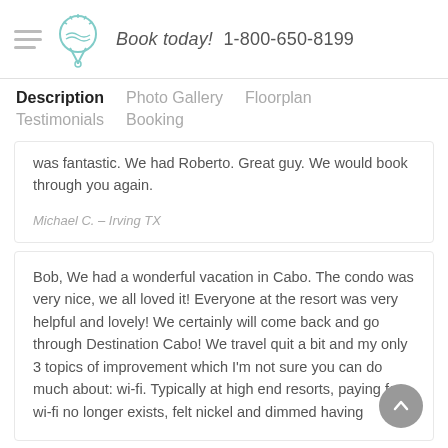Book today! 1-800-650-8199
Description  Photo Gallery  Floorplan  Testimonials  Booking
was fantastic. We had Roberto. Great guy. We would book through you again.
Michael C. – Irving TX
Bob, We had a wonderful vacation in Cabo. The condo was very nice, we all loved it! Everyone at the resort was very helpful and lovely! We certainly will come back and go through Destination Cabo! We travel quit a bit and my only 3 topics of improvement which I'm not sure you can do much about: wi-fi. Typically at high end resorts, paying for wi-fi no longer exists, felt nickel and dimmed having